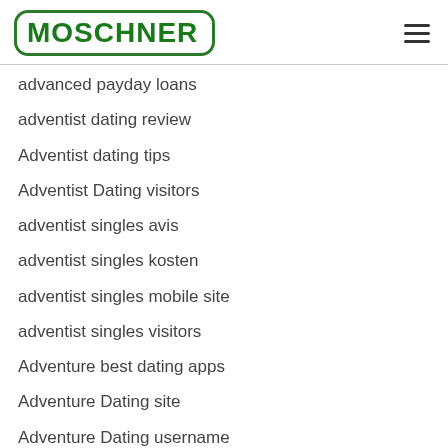[Figure (logo): MOSCHNER logo in green with rounded rectangle border]
advanced payday loans
adventist dating review
Adventist dating tips
Adventist Dating visitors
adventist singles avis
adventist singles kosten
adventist singles mobile site
adventist singles visitors
Adventure best dating apps
Adventure Dating site
Adventure Dating username
Adventure Dating visitors